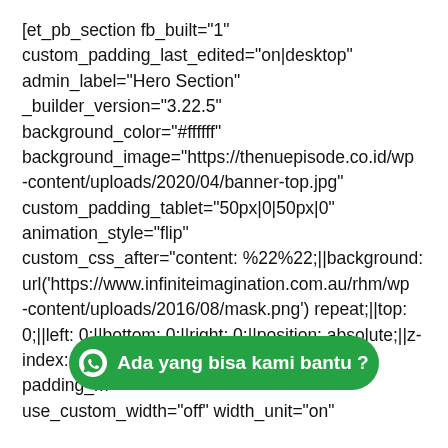[et_pb_section fb_built="1" custom_padding_last_edited="on|desktop" admin_label="Hero Section" _builder_version="3.22.5" background_color="#ffffff" background_image="https://thenuepisode.co.id/wp-content/uploads/2020/04/banner-top.jpg" custom_padding_tablet="50px|0|50px|0" animation_style="flip" custom_css_after="content: %22%22;||background: url('https://www.infiniteimagination.com.au/rhm/wp-content/uploads/2016/08/mask.png') repeat;||top: 0;||left: 0;||bottom: 0;||right: 0;||position: absolute;||z-index: 1;||" transparent_background="off" padding_m use_custom_width="off" width_unit="on"
[Figure (other): WhatsApp chat button with green background and text 'Ada yang bisa kami bantu ?']